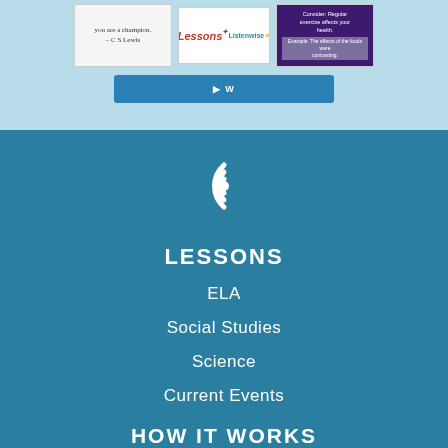[Figure (screenshot): Three thumbnail images of lesson content: a handwritten note, a Listenwise lesson card with stars, and a purple diagram about exercise and health.]
[Figure (other): Blue button below thumbnails]
[Figure (logo): White circular logo icon (Listenwise) with concentric arcs and a dot]
LESSONS
ELA
Social Studies
Science
Current Events
HOW IT WORKS